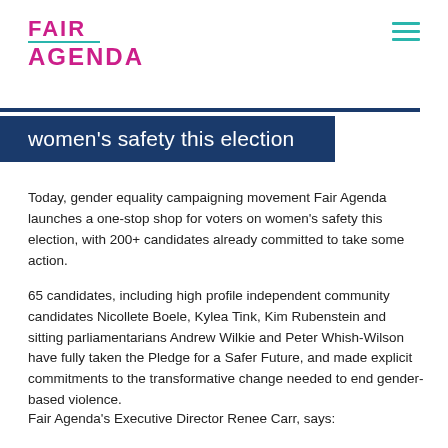FAIR AGENDA
women's safety this election
Today, gender equality campaigning movement Fair Agenda launches a one-stop shop for voters on women's safety this election, with 200+ candidates already committed to take some action.
65 candidates, including high profile independent community candidates Nicollete Boele, Kylea Tink, Kim Rubenstein and sitting parliamentarians Andrew Wilkie and Peter Whish-Wilson have fully taken the Pledge for a Safer Future, and made explicit commitments to the transformative change needed to end gender-based violence.
Fair Agenda's Executive Director Renee Carr, says: